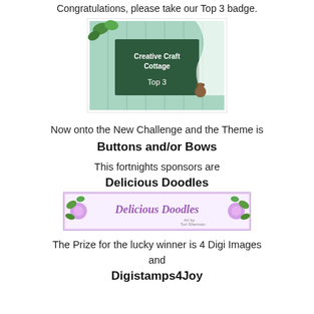Congratulations, please take our Top 3 badge.
[Figure (illustration): Creative Craft Cottage Top 3 badge image — a decorative badge with green background showing a cottage scene with text 'Creative Craft Cottage Top 3']
Now onto the New Challenge and the Theme is
Buttons and/or Bows
This fortnights sponsors are
Delicious Doodles
[Figure (illustration): Delicious Doodles banner/logo with floral decorations and text 'Delicious Doodles Art by Tori Sherman']
The Prize for the lucky winner is 4 Digi Images
and
Digistamps4Joy